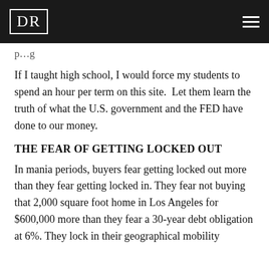DR
p...g
If I taught high school, I would force my students to spend an hour per term on this site.  Let them learn the truth of what the U.S. government and the FED have done to our money.
THE FEAR OF GETTING LOCKED OUT
In mania periods, buyers fear getting locked out more than they fear getting locked in. They fear not buying that 2,000 square foot home in Los Angeles for $600,000 more than they fear a 30-year debt obligation at 6%. They lock in their geographical mobility